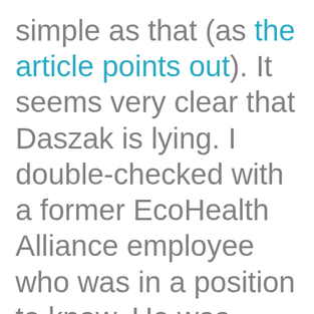simple as that (as the article points out). It seems very clear that Daszak is lying. I double-checked with a former EcoHealth Alliance employee who was in a position to know. He was unequivocal. You have